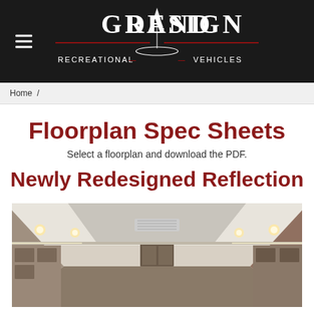Grand Design Recreational Vehicles
Home /
Floorplan Spec Sheets
Select a floorplan and download the PDF.
Newly Redesigned Reflection
[Figure (photo): Interior photo of a Grand Design RV showing a long hallway with LED lighting, wooden cabinetry, and white ceiling panels.]